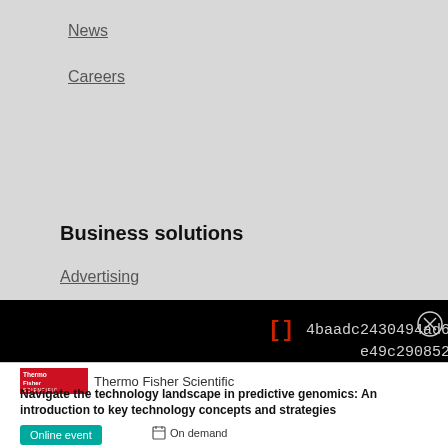News
Careers
Business solutions
Advertising
[Figure (screenshot): Black bar with red bracket symbol '[]' and hash code text '4baadc2430494ad6ab319e49c2908528' with a close/X circle button]
[Figure (logo): ThermoFisher Scientific logo in red with company name]
Navigate the technology landscape in predictive genomics: An introduction to key technology concepts and strategies
Online event   On demand